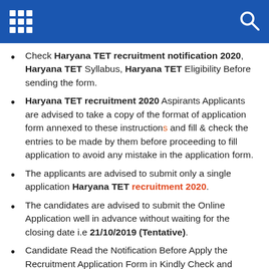[grid icon] [search icon]
Check Haryana TET recruitment notification 2020, Haryana TET Syllabus, Haryana TET Eligibility Before sending the form.
Haryana TET recruitment 2020 Aspirants Applicants are advised to take a copy of the format of application form annexed to these instructions and fill & check the entries to be made by them before proceeding to fill application to avoid any mistake in the application form.
The applicants are advised to submit only a single application Haryana TET recruitment 2020.
The candidates are advised to submit the Online Application well in advance without waiting for the closing date i.e 21/10/2019 (Tentative).
Candidate Read the Notification Before Apply the Recruitment Application Form in Kindly Check and College the All Document – Eligibility, ID Proof, Address Details, Basic Details.